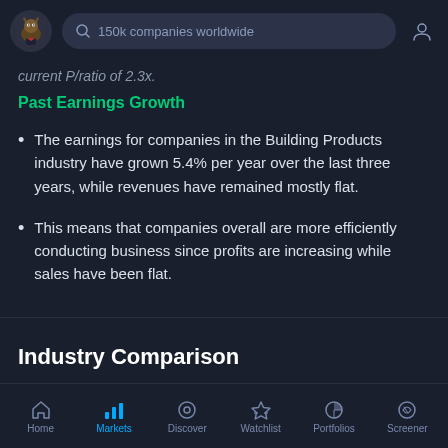150k companies worldwide
current P/ratio of 2.3x.
Past Earnings Growth
The earnings for companies in the Building Products industry have grown 5.4% per year over the last three years, while revenues have remained mostly flat.
This means that companies overall are more efficiently conducting business since profits are increasing while sales have been flat.
Industry Comparison
Home | Markets | Discover | Watchlist | Portfolios | Screener